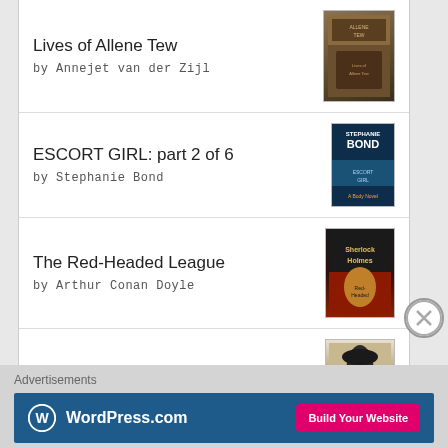Lives of Allene Tew by Annejet van der Zijl
ESCORT GIRL: part 2 of 6 by Stephanie Bond
The Red-Headed League by Arthur Conan Doyle
A Scandal in Bohemia by Ronald Holt
[Figure (logo): goodreads logo button with rounded border]
[Figure (logo): Close/X circle button]
Advertisements
[Figure (infographic): WordPress.com advertisement banner with Build Your Website button]